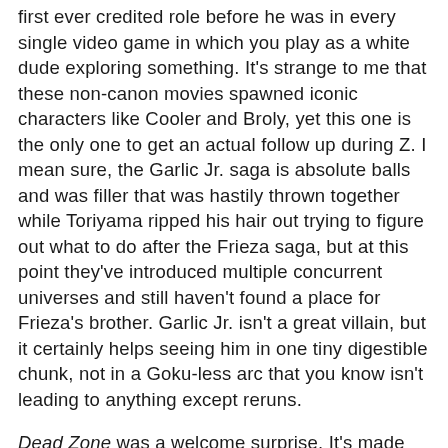first ever credited role before he was in every single video game in which you play as a white dude exploring something. It's strange to me that these non-canon movies spawned iconic characters like Cooler and Broly, yet this one is the only one to get an actual follow up during Z. I mean sure, the Garlic Jr. saga is absolute balls and was filler that was hastily thrown together while Toriyama ripped his hair out trying to figure out what to do after the Frieza saga, but at this point they've introduced multiple concurrent universes and still haven't found a place for Frieza's brother. Garlic Jr. isn't a great villain, but it certainly helps seeing him in one tiny digestible chunk, not in a Goku-less arc that you know isn't leading to anything except reruns.

Dead Zone was a welcome surprise. It's made me more optimistic for this journey I've put myself on, and made me reconsider that these first couple of movies that I watched once on Toonami and then wrote off forever are better than I gave them credit for. What most likely happened is that I watched them once, nobody went Super Saiyan, and I declared them lame and never went back. Dead Zone might end up being one of the best movies by the time everything's said and done. I can't know yet, so in the meantime, allow...